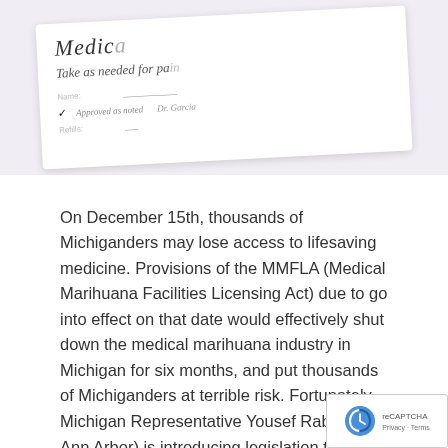[Figure (photo): A prescription pad or medical note card showing handwritten-style italic text 'Medic...' at top, 'Take as needed for pa...' below, with some checkbox lines and a signature line, on a light lavender/white background.]
On December 15th, thousands of Michiganders may lose access to lifesaving medicine. Provisions of the MMFLA (Medical Marihuana Facilities Licensing Act) due to go into effect on that date would effectively shut down the medical marihuana industry in Michigan for six months, and put thousands of Michiganders at terrible risk. Fortunately, Michigan Representative Yousef Rabhi (D-Ann Arbor) is introducing legislation to address this critical dilemma. Introduced Thursday, September 14th, Rep. Rahbi's bill would allow all currently operating Cannabis facilities to remain open for one year, while they apply for a state license, so long as they pay the required fees. This would ensure an uninterrupted